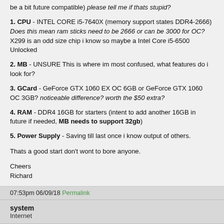be a bit future compatible) please tell me if thats stupid?
1. CPU - INTEL CORE i5-7640X (memory support states DDR4-2666) Does this mean ram sticks need to be 2666 or can be 3000 for OC? X299 is an odd size chip i know so maybe a Intel Core i5-6500 Unlocked
2. MB - UNSURE This is where im most confused, what features do i look for?
3. GCard - GeForce GTX 1060 EX OC 6GB or GeForce GTX 1060 OC 3GB? noticeable difference? worth the $50 extra?
4. RAM - DDR4 16GB for starters (intent to add another 16GB in future if needed, MB needs to support 32gb)
5. Power Supply - Saving till last once i know output of others.
Thats a good start don't wont to bore anyone.
Cheers
Richard
07:53pm 06/09/18 Permalink
system
Internet
--